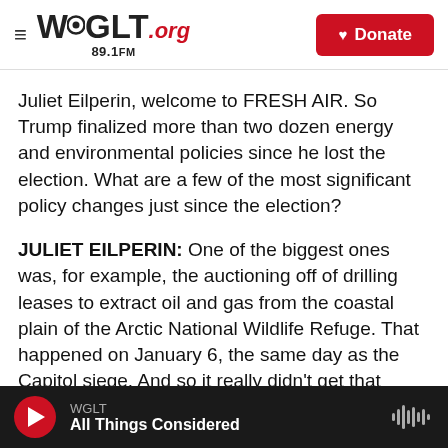WGLT.org 89.1FM | Donate
Juliet Eilperin, welcome to FRESH AIR. So Trump finalized more than two dozen energy and environmental policies since he lost the election. What are a few of the most significant policy changes just since the election?
JULIET EILPERIN: One of the biggest ones was, for example, the auctioning off of drilling leases to extract oil and gas from the coastal plain of the Arctic National Wildlife Refuge. That happened on January 6, the same day as the Capitol siege. And so it really didn't get that much attention from the
WGLT — All Things Considered